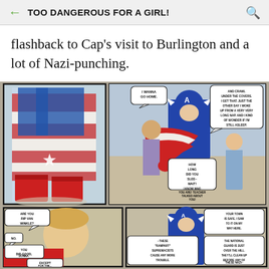TOO DANGEROUS FOR A GIRL!
flashback to Cap's visit to Burlington and a lot of Nazi-punching.
[Figure (illustration): Comic book panels showing Captain America in his red-white-and-blue costume. Top-left panel shows Cap's legs with red boots. Top-right panel shows Cap kneeling with a girl holding the flag and a boy, with speech bubbles: 'I WANNA GO HOME.' and 'AND CRAWL UNDER THE COVERS. I GET THAT. JUST THE OTHER DAY I WOKE UP FROM A VERY VERY LONG NAP. AND I KIND OF WONDER IF I'M STILL ASLEEP.' and 'HOW LONG DID YOU SLEE-- WAIT! I KNOW WHO YOU ARE! TEACHER TALKED ABOUT YOU!' Bottom-left panel shows a boy with speech bubbles: 'ARE YOU RIP VAN WINKLE?' 'NO.' 'YOU DID GOOD, DONNA.' 'EXCEPT FOR THE...' Bottom-right panel shows Captain America talking with speech bubbles: 'YOUR TOWN IS SAFE. I SAW TO IT ON MY WAY HERE.' 'THE NATIONAL GUARD IS JUST OVER THE HILL. THEY'LL CLEAN UP BEFORE ANY OF THESE NAZI--' '--THESE "RAMPART" SUPREMACISTS CAUSE ANY MORE TROUBLE.']